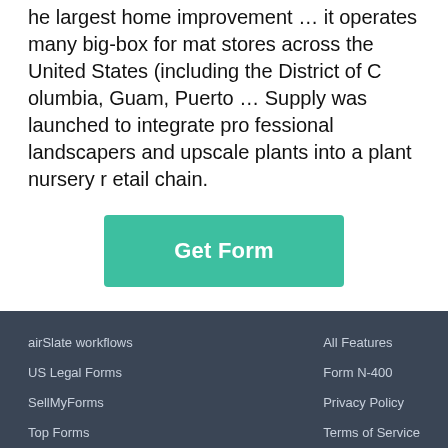he largest home improvement … it operates many big-box format stores across the United States (including the District of Columbia, Guam, Puerto … Supply was launched to integrate professional landscapers and upscale plants into a plant nursery retail chain.
Get Form
airSlate workflows
US Legal Forms
SellMyForms
Top Forms
All Features
Form N-400
Privacy Policy
Terms of Service
DMCA
© 2022 airSlate Inc. All rights reserved.